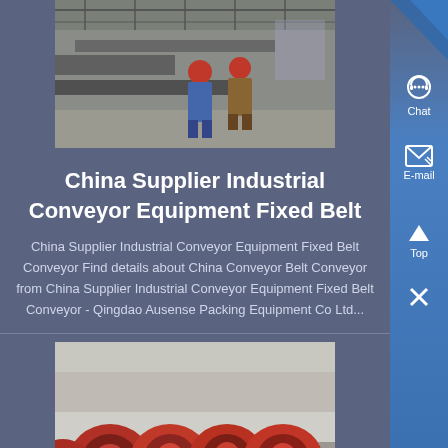[Figure (photo): Factory interior showing industrial conveyor equipment with workers in hard hats]
China Supplier Industrial Conveyor Equipment Fixed Belt
China Supplier Industrial Conveyor Equipment Fixed Belt Conveyor Find details about China Conveyor Belt Conveyor from China Supplier Industrial Conveyor Equipment Fixed Belt Conveyor - Qingdao Ausense Packing Equipment Co Ltd...
[Figure (photo): Red conveyor machinery parts/tubes stored outdoors]
China Conveyor Machinery 5